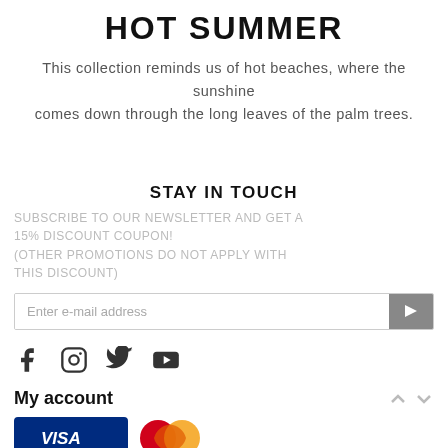HOT SUMMER
This collection reminds us of hot beaches, where the sunshine comes down through the long leaves of the palm trees.
STAY IN TOUCH
SUBSCRIBE TO OUR NEWSLETTER AND GET A 15% DISCOUNT COUPON! (OTHER PROMOTIONS DO NOT APPLY WITH THIS DISCOUNT)
Enter e-mail address
[Figure (other): Social media icons: Facebook, Instagram, Twitter, YouTube]
My account
[Figure (other): Payment icons: Visa card (blue), Mastercard circles (red and orange/yellow)]